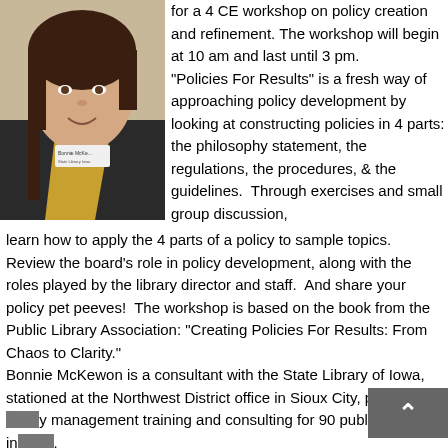[Figure (photo): Headshot photo of a woman with brown hair in a braid, wearing a dark jacket and yellow/gold scarf, with a name tag visible]
for a 4 CE workshop on policy creation and refinement. The workshop will begin at 10 am and last until 3 pm.
"Policies For Results" is a fresh way of approaching policy development by looking at constructing policies in 4 parts: the philosophy statement, the regulations, the procedures, & the guidelines.  Through exercises and small group discussion, learn how to apply the 4 parts of a policy to sample topics.  Review the board's role in policy development, along with the roles played by the library director and staff.  And share your policy pet peeves!  The workshop is based on the book from the Public Library Association: "Creating Policies For Results: From Chaos to Clarity."
Bonnie McKewon is a consultant with the State Library of Iowa, stationed at the Northwest District office in Sioux City, providing library management training and consulting for 90 public libraries in Iowa.